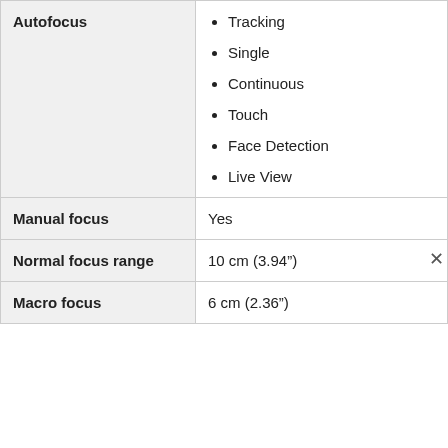| Feature | Value |
| --- | --- |
| Autofocus | Tracking
Single
Continuous
Touch
Face Detection
Live View |
| Manual focus | Yes |
| Normal focus range | 10 cm (3.94”) |
| Macro focus | 6 cm (2.36”) |